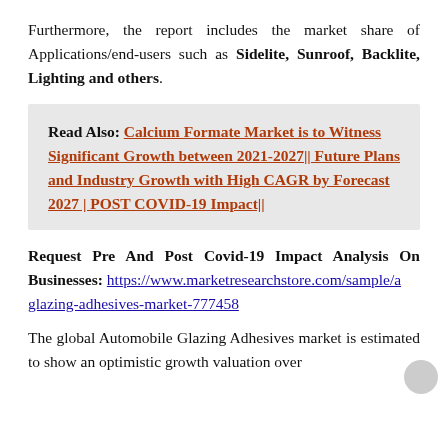Furthermore, the report includes the market share of Applications/end-users such as Sidelite, Sunroof, Backlite, Lighting and others.
Read Also: Calcium Formate Market is to Witness Significant Growth between 2021-2027|| Future Plans and Industry Growth with High CAGR by Forecast 2027 | POST COVID-19 Impact||
Request Pre And Post Covid-19 Impact Analysis On Businesses: https://www.marketresearchstore.com/sample/a glazing-adhesives-market-777458
The global Automobile Glazing Adhesives market is estimated to show an optimistic growth valuation over